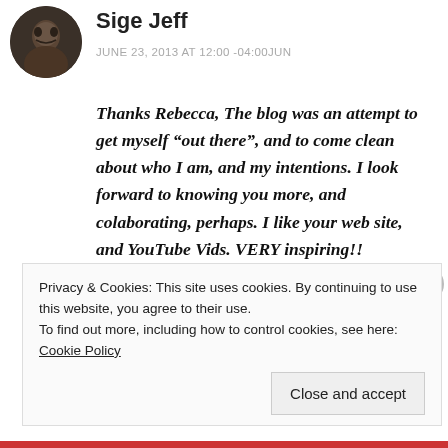[Figure (photo): Circular avatar photo of a person outdoors, dark toned image]
Sige Jeff
JUNE 23, 2013 AT 12:00 -04:00JUN
Thanks Rebecca, The blog was an attempt to get myself “out there”, and to come clean about who I am, and my intentions. I look forward to knowing you more, and colaborating, perhaps. I like your web site, and YouTube Vids. VERY inspiring!!
REPLY
Privacy & Cookies: This site uses cookies. By continuing to use this website, you agree to their use.
To find out more, including how to control cookies, see here: Cookie Policy
Close and accept